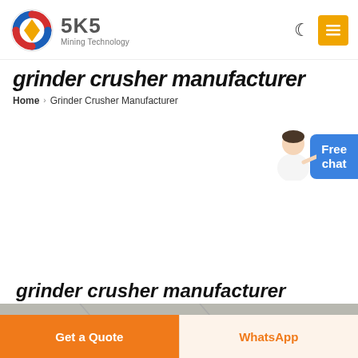[Figure (logo): SKS Mining Technology logo with circular arrow emblem in red, blue, and gold, and text SKS Mining Technology]
grinder crusher manufacturer
Home > Grinder Crusher Manufacturer
[Figure (illustration): Chat widget with person avatar and Free chat button in blue]
grinder crusher manufacturer
[Figure (photo): Industrial machinery photo showing crusher/grinder equipment from below with blue shaft component visible]
Get a Quote | WhatsApp